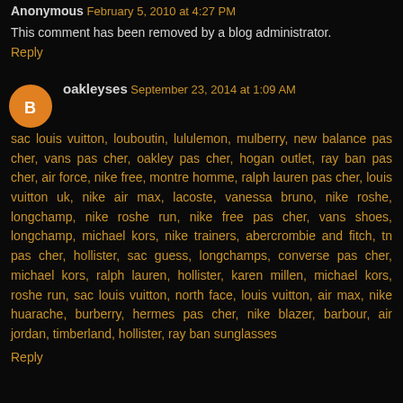Anonymous  February 5, 2010 at 4:27 PM
This comment has been removed by a blog administrator.
Reply
oakleyses  September 23, 2014 at 1:09 AM
sac louis vuitton, louboutin, lululemon, mulberry, new balance pas cher, vans pas cher, oakley pas cher, hogan outlet, ray ban pas cher, air force, nike free, montre homme, ralph lauren pas cher, louis vuitton uk, nike air max, lacoste, vanessa bruno, nike roshe, longchamp, nike roshe run, nike free pas cher, vans shoes, longchamp, michael kors, nike trainers, abercrombie and fitch, tn pas cher, hollister, sac guess, longchamps, converse pas cher, michael kors, ralph lauren, hollister, karen millen, michael kors, roshe run, sac louis vuitton, north face, louis vuitton, air max, nike huarache, burberry, hermes pas cher, nike blazer, barbour, air jordan, timberland, hollister, ray ban sunglasses
Reply